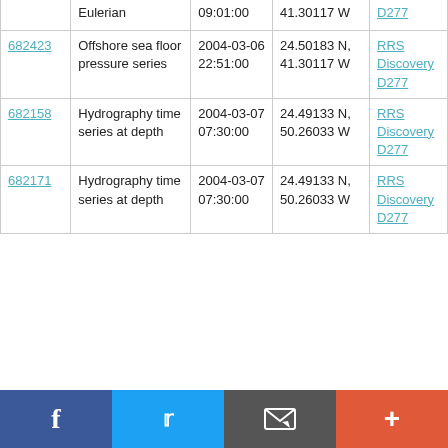| ID | Type | Date/Time | Location | Cruise |
| --- | --- | --- | --- | --- |
|  | Eulerian | 09:01:00 | 41.30117 W | D277 |
| 682423 | Offshore sea floor pressure series | 2004-03-06 22:51:00 | 24.50183 N, 41.30117 W | RRS Discovery D277 |
| 682158 | Hydrography time series at depth | 2004-03-07 07:30:00 | 24.49133 N, 50.26033 W | RRS Discovery D277 |
| 682171 | Hydrography time series at depth | 2004-03-07 07:30:00 | 24.49133 N, 50.26033 W | RRS Discovery D277 |